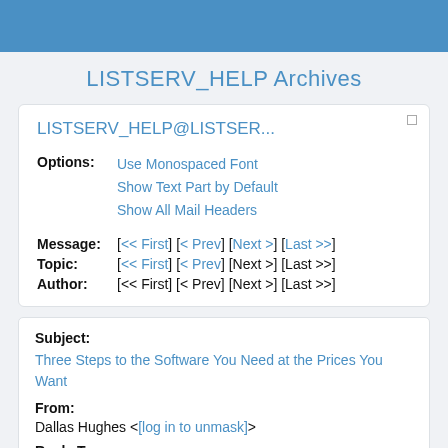LISTSERV_HELP Archives
LISTSERV_HELP@LISTSER...
Options: Use Monospaced Font | Show Text Part by Default | Show All Mail Headers
Message: [<< First] [< Prev] [Next >] [Last >>]
Topic: [<< First] [< Prev] [Next >] [Last >>]
Author: [<< First] [< Prev] [Next >] [Last >>]
Subject:
Three Steps to the Software You Need at the Prices You Want
From:
Dallas Hughes <[log in to unmask]>
Reply To: